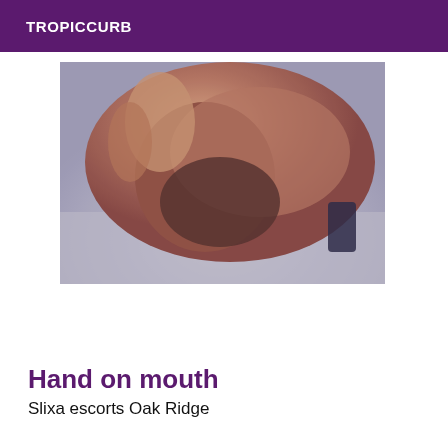TROPICCURB
[Figure (photo): Close-up blurry photo of hands, with a dark object visible at bottom right, on a light blue/grey fabric background.]
Hand on mouth
Slixa escorts Oak Ridge